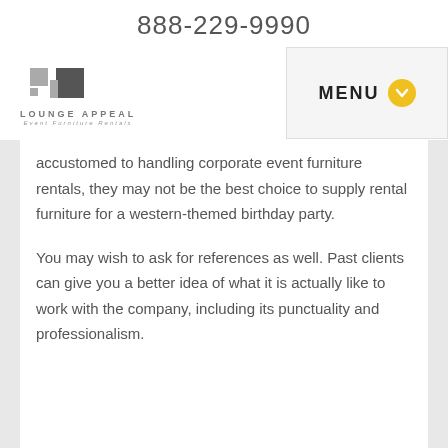888-229-9990
[Figure (logo): Lounge Appeal Event Furniture Rentals logo with stylized furniture icon]
accustomed to handling corporate event furniture rentals, they may not be the best choice to supply rental furniture for a western-themed birthday party.
You may wish to ask for references as well. Past clients can give you a better idea of what it is actually like to work with the company, including its punctuality and professionalism.